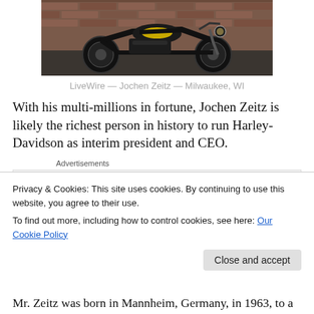[Figure (photo): Black electric motorcycle (LiveWire) parked in front of a brick wall. The motorcycle is primarily black with a yellow accent on the fuel tank area.]
LiveWire — Jochen Zeitz — Milwaukee, WI
With his multi-millions in fortune, Jochen Zeitz is likely the richest person in history to run Harley-Davidson as interim president and CEO.
Advertisements
[Figure (screenshot): Advertisement box with a blue square icon labeled 'n2' and bold text reading 'Getting your team on the']
Privacy & Cookies: This site uses cookies. By continuing to use this website, you agree to their use.
To find out more, including how to control cookies, see here: Our Cookie Policy
Mr. Zeitz was born in Mannheim, Germany, in 1963, to a